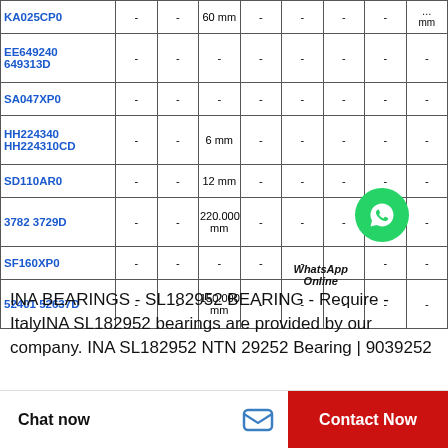| Part | - | - | dim | - | - | - | - | - |
| --- | --- | --- | --- | --- | --- | --- | --- | --- |
| KA025CP0 | - | - | 60 mm | - | - | - | - | … mm |
| EE649240 649313D | - | - | - | - | - | - | - | - |
| SA047XP0 | - | - | - | - | - | - | - | - |
| HH224340 HH224310CD | - | - | 6 mm | - | - | - | - | - |
| SD110AR0 | - | - | 12 mm | - | - | - | - | - |
| 3782 3729D | - | - | 220.000 mm | - | - | - | - | - |
| SF160XP0 | - | - | - | - | - | - | - | - |
| 52401 52637D | - | - | 150.000 mm | - | - | - | - | - |
INA BEARINGS - SL182952 BEARING - Require - ItalyINA SL182952 bearings are provided by our company. INA SL182952 NTN 29252 Bearing | 9039252
Chat now   Contact Now